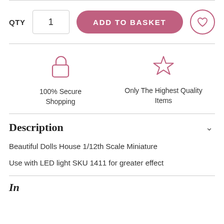QTY  1  ADD TO BASKET
[Figure (infographic): Two trust icons: a padlock icon labeled '100% Secure Shopping' and a star icon labeled 'Only The Highest Quality Items']
Description
Beautiful Dolls House 1/12th Scale Miniature
Use with LED light SKU 1411 for greater effect
In